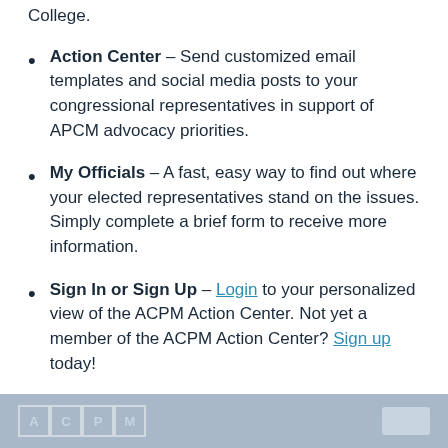College.
Action Center – Send customized email templates and social media posts to your congressional representatives in support of APCM advocacy priorities.
My Officials – A fast, easy way to find out where your elected representatives stand on the issues. Simply complete a brief form to receive more information.
Sign In or Sign Up – Login to your personalized view of the ACPM Action Center. Not yet a member of the ACPM Action Center? Sign up today!
ACPM footer bar